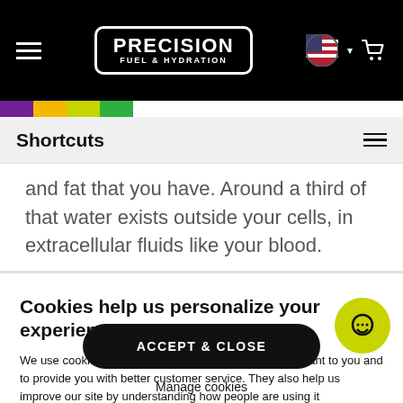[Figure (screenshot): Precision Fuel & Hydration navigation bar with hamburger menu, logo, US flag icon, and cart icon on black background]
Shortcuts
and fat that you have. Around a third of that water exists outside your cells, in extracellular fluids like your blood.
Cookies help us personalize your experience
We use cookies to show you content and products relevant to you and to provide you with better customer service. They also help us improve our site by understanding how people are using it (anonymously) and grow our small business by only showing ads to people likely to find what we do useful. Please accept our cookie policy by clicking 'Accept & close' or by clicking anywhere on the site to continue to browse.
ACCEPT & CLOSE
Manage cookies